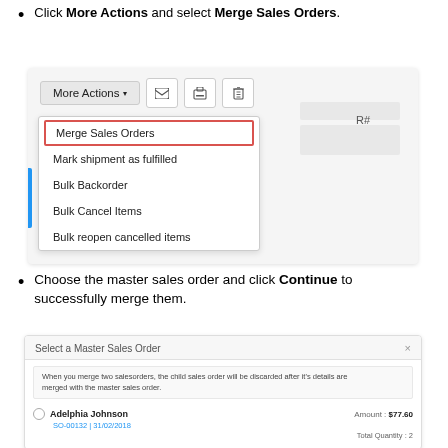Click More Actions and select Merge Sales Orders.
[Figure (screenshot): Screenshot of a dropdown menu in a sales order interface showing options: Merge Sales Orders (highlighted with red border), Mark shipment as fulfilled, Bulk Backorder, Bulk Cancel Items, Bulk reopen cancelled items. Toolbar shows More Actions button with email, print, and delete icons.]
Choose the master sales order and click Continue to successfully merge them.
[Figure (screenshot): Screenshot of a 'Select a Master Sales Order' modal dialog. Shows explanatory text about merging sales orders and a list item for Adelphia Johnson with Amount: $77.60, SO-00132 | 31/02/2018, Total Quantity: 2.]